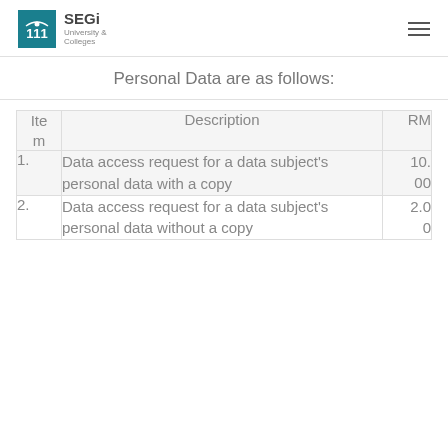SEGi University & Colleges
Personal Data are as follows:
| Item | Description | RM |
| --- | --- | --- |
| 1. | Data access request for a data subject's personal data with a copy | 10.00 |
| 2. | Data access request for a data subject's personal data without a copy | 2.00 |